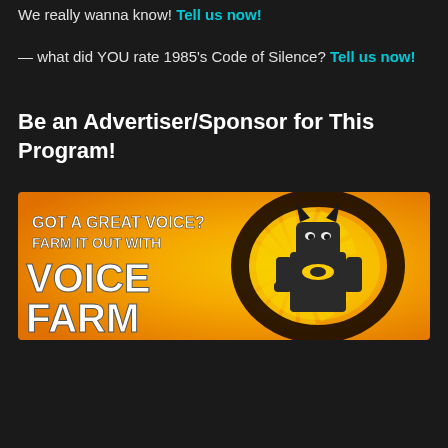We really wanna know! Tell us now!
— what did YOU rate 1985's Code of Silence? Tell us now!
Be an Advertiser/Sponsor for This Program!
[Figure (illustration): Voice Farm advertisement banner with orange/yellow background, Batman LEGO figure, and text: GOT A GREAT VOICE? FARM IT OUT WITH VOICE FARM]
[Figure (illustration): Podcasting advertisement banner with dark blue background, stars, and text: wanna' spend more time PODCASTING? Get Your P... w... with a Send Voicemail Now! green button overlay]